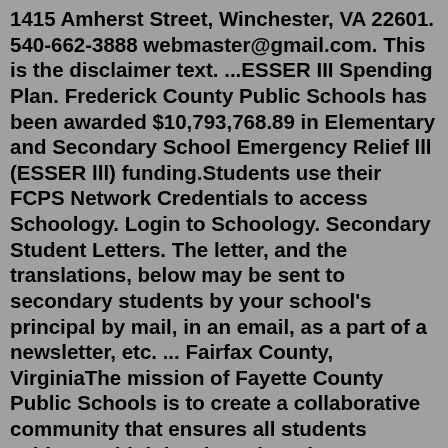1415 Amherst Street, Winchester, VA 22601. 540-662-3888 webmaster@gmail.com. This is the disclaimer text. ...ESSER III Spending Plan. Frederick County Public Schools has been awarded $10,793,768.89 in Elementary and Secondary School Emergency Relief lll (ESSER lll) funding.Students use their FCPS Network Credentials to access Schoology. Login to Schoology. Secondary Student Letters. The letter, and the translations, below may be sent to secondary students by your school's principal by mail, in an email, as a part of a newsletter, etc. ... Fairfax County, VirginiaThe mission of Fayette County Public Schools is to create a collaborative community that ensures all students achieve at high levels and graduate prepared to excel in a global society. Over 41,000 students. 90+ native languages. Over 8,000 employees. 70 schools & special programs. The district offers technical assistance with FCPS email accounts and Chromebooks. The Student Tech Support line, (859) 381-4410, is open from 8 a.m. to 4:30 p.m. weekdays.